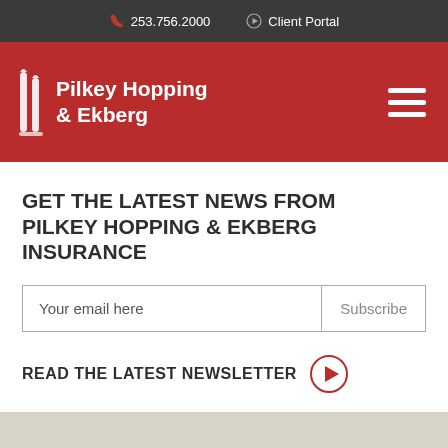253.756.2000   Client Portal
[Figure (logo): Pilkey Hopping & Ekberg logo with stylized double-flame icon on red background header]
GET THE LATEST NEWS FROM PILKEY HOPPING & EKBERG INSURANCE
Your email here  Subscribe
READ THE LATEST NEWSLETTER